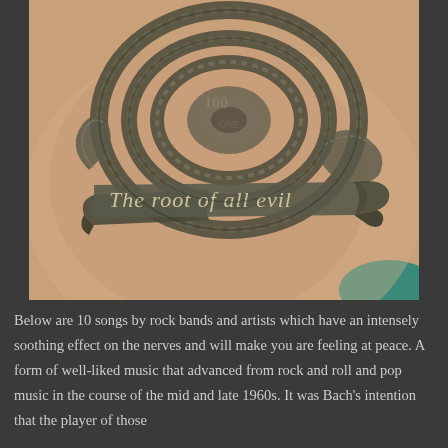[Figure (photo): A tattoo on a person's chest/shoulder area depicting a rose made of rolled-up dollar bills (US currency), with a banner ribbon below reading 'The root of all evil' in decorative script lettering. The tattoo is done in black and grey ink.]
Below are 10 songs by rock bands and artists which have an intensely soothing effect on the nerves and will make you are feeling at peace. A form of well-liked music that advanced from rock and roll and pop music in the course of the mid and late 1960s. It was Bach's intention that the player of those